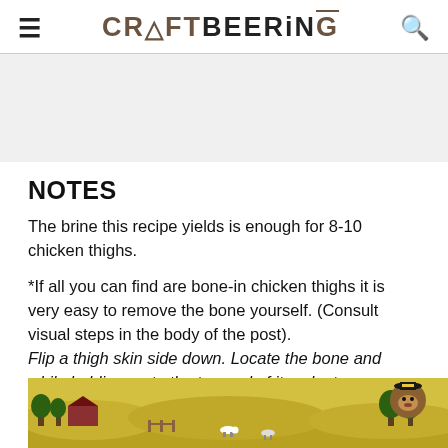CRAFTBEERING
NOTES
The brine this recipe yields is enough for 8-10 chicken thighs.
*If all you can find are bone-in chicken thighs it is very easy to remove the bone yourself. (Consult visual steps in the body of the post). Flip a thigh skin side down. Locate the bone and while holding on to the top end of it make two incisions on each side to seprate it from the meat. Then... around... o
[Figure (illustration): Advertisement banner showing a cartoon landscape with fields and a bear character wearing a hat (Smokey Bear style)]